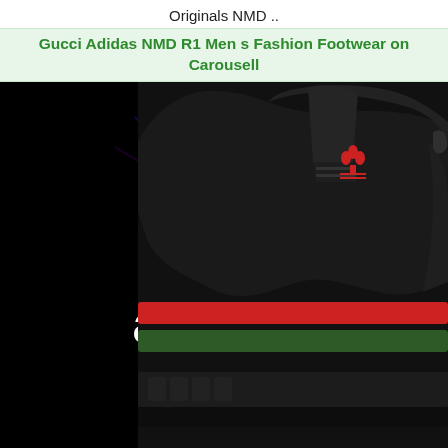Originals NMD ..
Gucci Adidas NMD R1 Men s Fashion Footwear on Carousell
[Figure (photo): Composite image showing Adidas Originals logo (white trefoil and 'adidas' text on black background with colorful light effects) on the left, and a black Adidas NMD R1 sneaker with Gucci-style red and green stripes on the right, all on a dark background.]